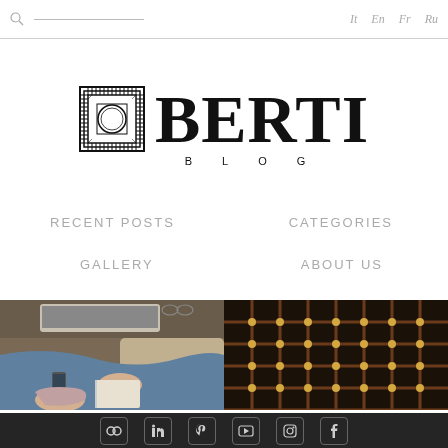It  En  Fr  Ru
[Figure (logo): Berti Blog logo with geometric square icon and large serif BERTI text with BLOG spelled out below]
RECENT POSTS
CATEGORIES
GALLERY
ABOUT US
[Figure (photo): Split image: left half shows a person lying on a sofa reading a book with a laptop nearby; right half shows a close-up of a dark wood floor with a geometric grid pattern featuring gold/amber dots at intersections]
Social media icons: Flickr, LinkedIn, Pinterest, YouTube, Instagram, Facebook